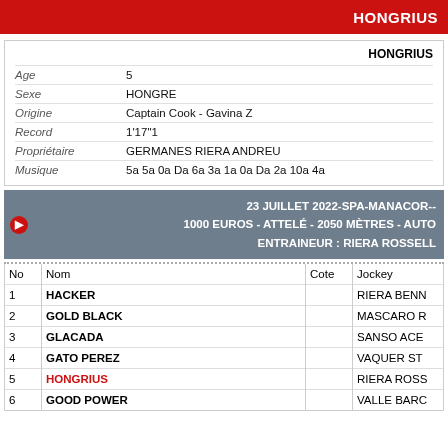HONGRIUS
| Age | 5 |
| Sexe | HONGRE |
| Origine | Captain Cook - Gavina Z |
| Record | 1'17"1 |
| Propriétaire | GERMANES RIERA ANDREU |
| Musique | 5a 5a 0a Da 6a 3a 1a 0a Da 2a 10a 4a |
23 JUILLET 2022-SPA-MANACOR-- 1000 EUROS - ATTELÉ - 2050 MÈTRES - AUTO ENTRAINEUR : RIERA ROSSELL
| No | Nom | Cote | Jockey |
| --- | --- | --- | --- |
| 1 | HACKER |  | RIERA BENN |
| 2 | GOLD BLACK |  | MASCARO R |
| 3 | GLACADA |  | SANSO ACE |
| 4 | GATO PEREZ |  | VAQUER ST |
| 5 | HONGRIUS |  | RIERA ROSS |
| 6 | GOOD POWER |  | VALLE BARC |